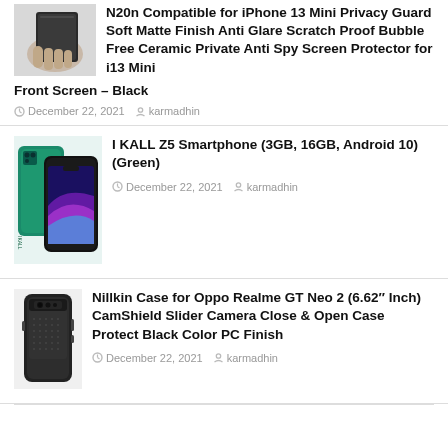[Figure (photo): Hand holding a screen protector, dark color]
N20n Compatible for iPhone 13 Mini Privacy Guard Soft Matte Finish Anti Glare Scratch Proof Bubble Free Ceramic Private Anti Spy Screen Protector for i13 Mini Front Screen – Black
December 22, 2021   karmadhin
[Figure (photo): I KALL Z5 smartphone in green color, front and back view]
I KALL Z5 Smartphone (3GB, 16GB, Android 10) (Green)
December 22, 2021   karmadhin
[Figure (photo): Nillkin black phone case for Oppo Realme GT Neo 2]
Nillkin Case for Oppo Realme GT Neo 2 (6.62" Inch) CamShield Slider Camera Close & Open Case Protect Black Color PC Finish
December 22, 2021   karmadhin